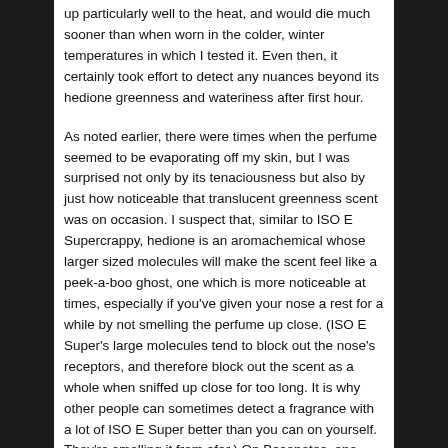up particularly well to the heat, and would die much sooner than when worn in the colder, winter temperatures in which I tested it. Even then, it certainly took effort to detect any nuances beyond its hedione greenness and wateriness after first hour.
As noted earlier, there were times when the perfume seemed to be evaporating off my skin, but I was surprised not only by its tenaciousness but also by just how noticeable that translucent greenness scent was on occasion. I suspect that, similar to ISO E Supercrappy, hedione is an aromachemical whose larger sized molecules will make the scent feel like a peek-a-boo ghost, one which is more noticeable at times, especially if you've given your nose a rest for a while by not smelling the perfume up close. (ISO E Super's large molecules tend to block out the nose's receptors, and therefore block out the scent as a whole when sniffed up close for too long. It is why other people can sometimes detect a fragrance with a lot of ISO E Super better than you can on yourself. They're smelling it from afar.) On Basenotes, one